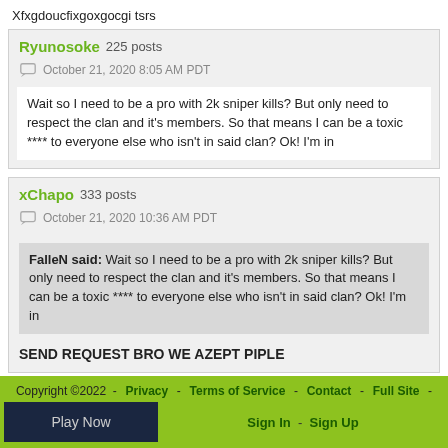Xfxgdoucfixgoxgocgi tsrs
Ryunosoke 225 posts
October 21, 2020 8:05 AM PDT
Wait so I need to be a pro with 2k sniper kills? But only need to respect the clan and it's members. So that means I can be a toxic **** to everyone else who isn't in said clan? Ok! I'm in
xChapo 333 posts
October 21, 2020 10:36 AM PDT
FalleN said: Wait so I need to be a pro with 2k sniper kills? But only need to respect the clan and it's members. So that means I can be a toxic **** to everyone else who isn't in said clan? Ok! I'm in
SEND REQUEST BRO WE AZEPT PIPLE
Copyright ©2022 - Privacy - Terms of Service - Contact - Full Site - Sign In - Sign Up